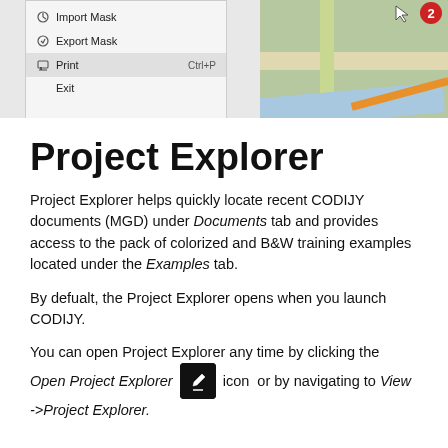[Figure (screenshot): Screenshot showing a dropdown menu with items: Import Mask, Export Mask, Print (Ctrl+P), Exit; alongside a map view with roads and terrain]
Project Explorer
Project Explorer helps quickly locate recent CODIJY documents (MGD) under Documents tab and provides access to the pack of colorized and B&W training examples located under the Examples tab.
By defualt, the Project Explorer opens when you launch CODIJY.
You can open Project Explorer any time by clicking the Open Project Explorer icon or by navigating to View ->Project Explorer.